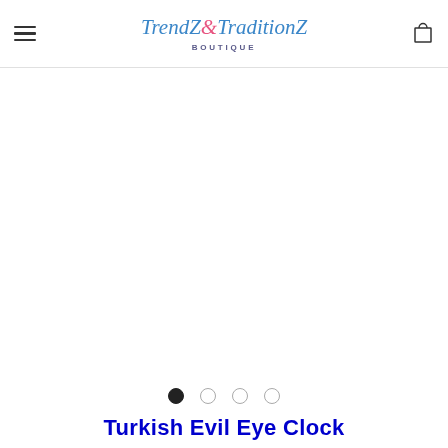TrendZ&TraditionZ BOUTIQUE
[Figure (other): Product image area (empty/white) with carousel dot indicators below showing 4 dots, first dot filled/active]
Turkish Evil Eye Clock